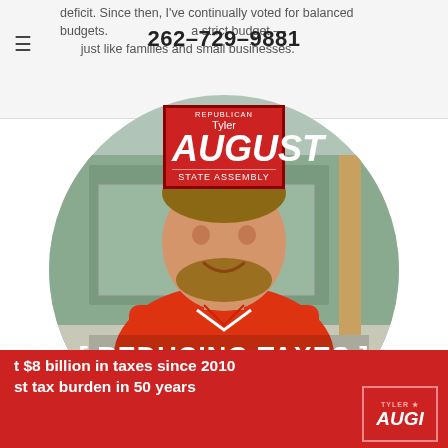deficit. Since then, I've continually voted for balanced budgets. Government must live on a strict budget — just like families and small businesses.
262-729-9881
[Figure (photo): Campaign logo for Tyler August, Republican, State Assembly — red box with white text]
[Figure (photo): Circular portrait photo of Tyler August wearing a red polo shirt, smiling, standing in front of a storefront. Text overlay reads [ REDUCING TAXES ]]
t $8 billion in taxes since 2010
st tax burden in 50 years
[Figure (logo): Small Tyler August campaign logo in bottom right corner]